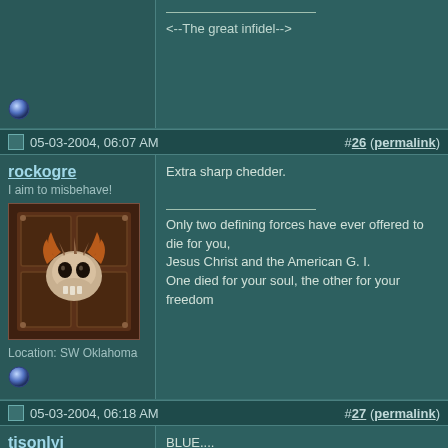<--The great infidel-->
05-03-2004, 06:07 AM  #26 (permalink)
rockogre
I aim to misbehave!
Location: SW Oklahoma
Extra sharp chedder.

Only two defining forces have ever offered to die for you,
Jesus Christ and the American G. I.
One died for your soul, the other for your freedom
05-03-2004, 06:18 AM  #27 (permalink)
tisonlyi
Nothing
BLUE....

Mmmmm... Stinky living goodness.

MMMmmmmmmmm......

"I do not agree that the dog in a manger has the final right to the manger even though he may have lain there for a very long time. I do not admit that right. I